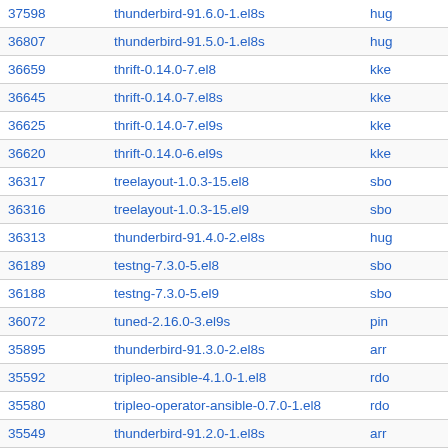| ID | Package | Submitter |
| --- | --- | --- |
| 37598 | thunderbird-91.6.0-1.el8s | hug |
| 36807 | thunderbird-91.5.0-1.el8s | hug |
| 36659 | thrift-0.14.0-7.el8 | kke |
| 36645 | thrift-0.14.0-7.el8s | kke |
| 36625 | thrift-0.14.0-7.el9s | kke |
| 36620 | thrift-0.14.0-6.el9s | kke |
| 36317 | treelayout-1.0.3-15.el8 | sbo |
| 36316 | treelayout-1.0.3-15.el9 | sbo |
| 36313 | thunderbird-91.4.0-2.el8s | hug |
| 36189 | testng-7.3.0-5.el8 | sbo |
| 36188 | testng-7.3.0-5.el9 | sbo |
| 36072 | tuned-2.16.0-3.el9s | pin |
| 35895 | thunderbird-91.3.0-2.el8s | arr |
| 35592 | tripleo-ansible-4.1.0-1.el8 | rdo |
| 35580 | tripleo-operator-ansible-0.7.0-1.el8 | rdo |
| 35549 | thunderbird-91.2.0-1.el8s | arr |
| 35334 | thunderbird-78.14.0-1.el8s | arr |